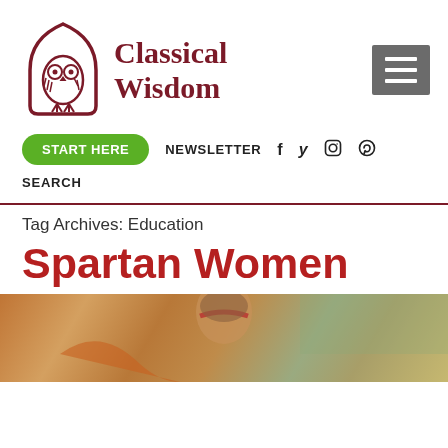[Figure (logo): Classical Wisdom owl logo in dark red/maroon arch shape with geometric owl illustration]
Classical Wisdom
[Figure (other): Hamburger menu icon — three white horizontal lines on a grey square background]
START HERE   NEWSLETTER  f  y  (instagram)  (pinterest)
SEARCH
Tag Archives: Education
Spartan Women
[Figure (photo): Partial image of a painting showing a figure with brown hair and a red headband, warm earthy tones]